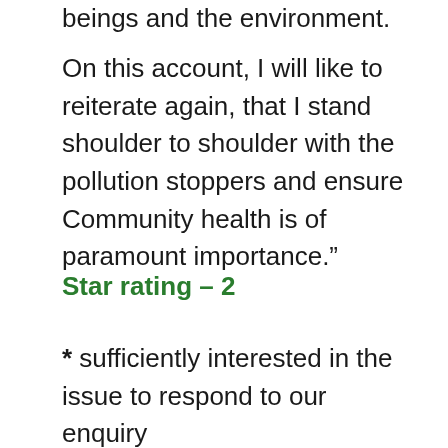beings and the environment.
On this account, I will like to reiterate again, that I stand shoulder to shoulder with the pollution stoppers and ensure Community health is of paramount importance.”
Star rating – 2
* sufficiently interested in the issue to respond to our enquiry